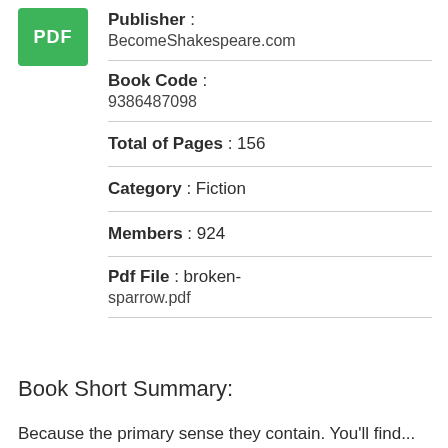[Figure (logo): Green PDF icon button]
Publisher : BecomeShakespeare.com
Book Code : 9386487098
Total of Pages : 156
Category : Fiction
Members : 924
Pdf File : broken-sparrow.pdf
Book Short Summary:
Because the primary sense they contain. You'll find...